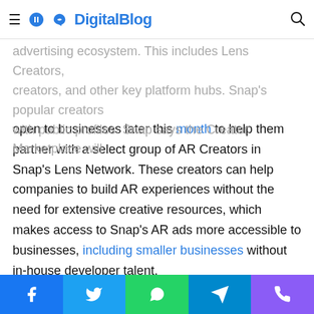DigitalBlog
advertising ecosystem. This includes Lens Creators, creators, and other key platform hubs. Snap's popular creators with public profiles. Snap says the Creator Marketplace will open to businesses later this month to help them partner with a select group of AR Creators in Snap's Lens Network. These creators can help companies to build AR experiences without the need for extensive creative resources, which makes access to Snap's AR ads more accessible to businesses, including smaller businesses without in-house developer talent.
Lens creators have already found opportunities working for businesses that want to grow their Snapchat presence — even allowing some creators to quit their day jobs and just build Lenses for a living. Snap has been further investing in this area of its business, has announced a $2.5 million fund
Facebook | Twitter | WhatsApp | Telegram | Phone